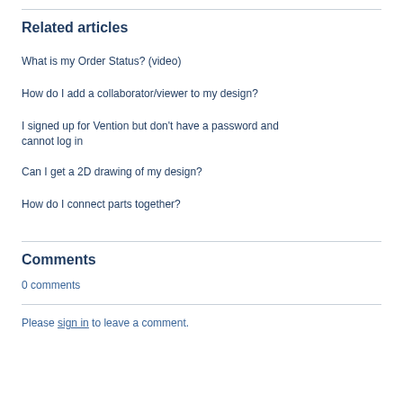Related articles
What is my Order Status? (video)
How do I add a collaborator/viewer to my design?
I signed up for Vention but don't have a password and cannot log in
Can I get a 2D drawing of my design?
How do I connect parts together?
Comments
0 comments
Please sign in to leave a comment.